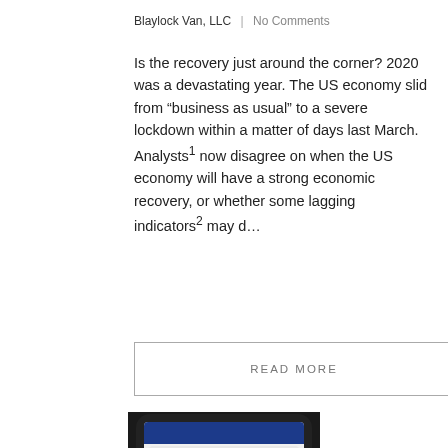Blaylock Van, LLC   No Comments
Is the recovery just around the corner? 2020 was a devastating year. The US economy slid from “business as usual” to a severe lockdown within a matter of days last March. Analysts1 now disagree on when the US economy will have a strong economic recovery, or whether some lagging indicators2 may d…
READ MORE
[Figure (photo): A smartphone displaying the GameStop Corp. (GME) stock price at 325.00 on a stock trading app, showing an area chart of the stock price in green against a dark background. The phone is lying on a dark surface.]